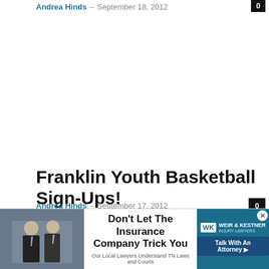Andrea Hinds – September 18, 2012
Franklin Youth Basketball Sign-Ups!
Andrea Hinds – September 17, 2012
[Figure (infographic): Advertisement: Don't Let The Insurance Company Trick You – Weir & Kestner Injury Lawyers. Our Local Lawyers Understand TN Laws and Courts. Talk With An Attorney.]